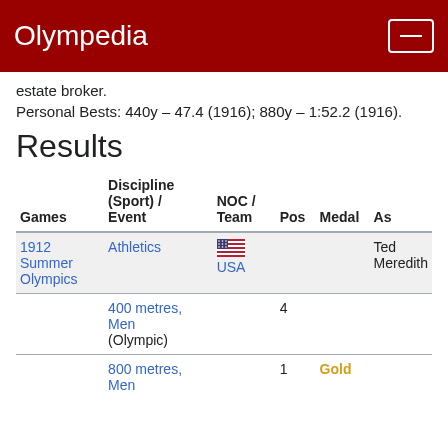Olympedia
estate broker.
Personal Bests: 440y – 47.4 (1916); 880y – 1:52.2 (1916).
Results
| Games | Discipline (Sport) / Event | NOC / Team | Pos | Medal | As |
| --- | --- | --- | --- | --- | --- |
| 1912 Summer Olympics | Athletics | USA |  |  | Ted Meredith |
|  | 400 metres, Men (Olympic) |  | 4 |  |  |
|  | 800 metres, Men |  | 1 | Gold |  |